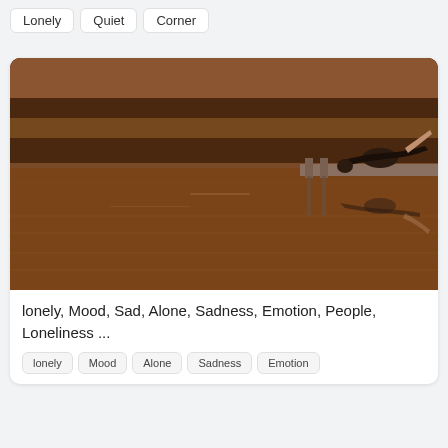Lonely
Quiet
Corner
[Figure (photo): A person lying on a wooden dock/pier over a calm reflective lake surrounded by autumn trees in warm brown and orange tones. The person's reflection is visible in the still water below.]
lonely, Mood, Sad, Alone, Sadness, Emotion, People, Loneliness ...
lonely
Mood
Alone
Sadness
Emotion